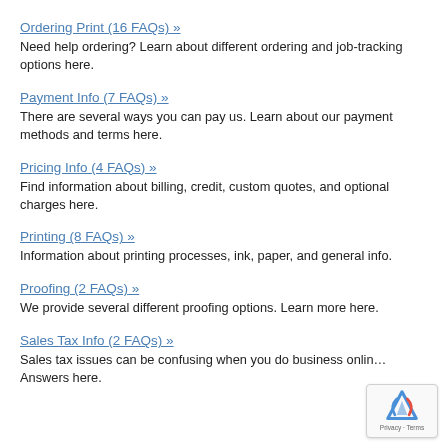Ordering Print (16 FAQs) »
Need help ordering? Learn about different ordering and job-tracking options here.
Payment Info (7 FAQs) »
There are several ways you can pay us. Learn about our payment methods and terms here.
Pricing Info (4 FAQs) »
Find information about billing, credit, custom quotes, and optional charges here.
Printing (8 FAQs) »
Information about printing processes, ink, paper, and general info.
Proofing (2 FAQs) »
We provide several different proofing options. Learn more here.
Sales Tax Info (2 FAQs) »
Sales tax issues can be confusing when you do business onlin… Answers here.